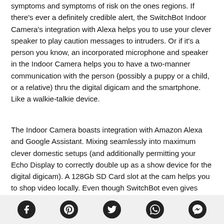symptoms and symptoms of risk on the ones regions. If there's ever a definitely credible alert, the SwitchBot Indoor Camera's integration with Alexa helps you to use your clever speaker to play caution messages to intruders. Or if it's a person you know, an incorporated microphone and speaker in the Indoor Camera helps you to have a two-manner communication with the person (possibly a puppy or a child, or a relative) thru the digital digicam and the smartphone. Like a walkie-talkie device.
The Indoor Camera boasts integration with Amazon Alexa and Google Assistant. Mixing seamlessly into maximum clever domestic setups (and additionally permitting your Echo Display to correctly double up as a show device for the digital digicam). A 128Gb SD Card slot at the cam helps you to shop video locally. Even though SwitchBot even gives cloud video storage (despite the fact that the digital digicam itself is offline). Permitting
[Figure (other): Social sharing icons bar with Facebook, Pinterest, Twitter, WhatsApp, and Messenger icons]